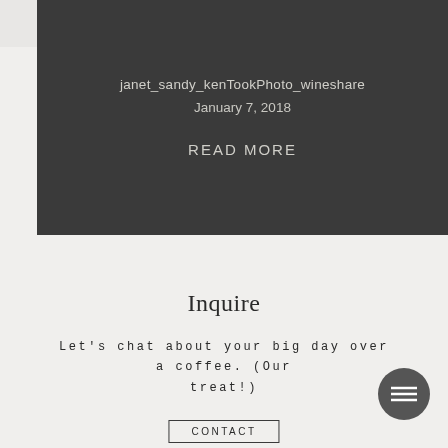[Figure (other): Dark card overlay with photo post metadata]
janet_sandy_kenTookPhoto_wineshare
January 7, 2018
READ MORE
Inquire
Let's chat about your big day over a coffee. (Our treat!)
CONTACT